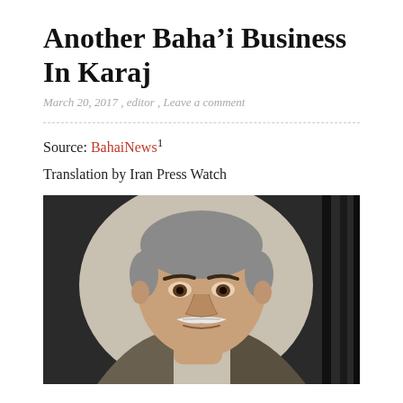Another Baha’i Business In Karaj
March 20, 2017 , editor , Leave a comment
Source: BahaiNews¹
Translation by Iran Press Watch
[Figure (photo): Portrait photo of an older Middle Eastern man with a white mustache, short gray hair, wearing a suit jacket, against a dark background.]